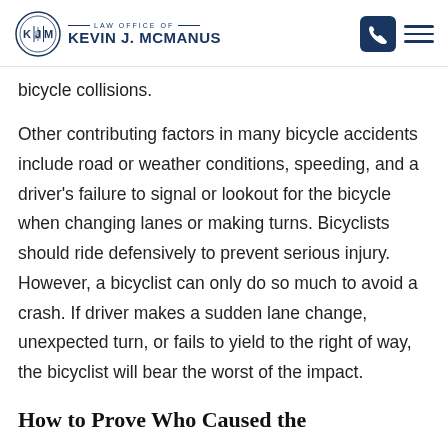LAW OFFICE OF KEVIN J. MCMANUS
bicycle collisions.
Other contributing factors in many bicycle accidents include road or weather conditions, speeding, and a driver’s failure to signal or lookout for the bicycle when changing lanes or making turns. Bicyclists should ride defensively to prevent serious injury. However, a bicyclist can only do so much to avoid a crash. If driver makes a sudden lane change, unexpected turn, or fails to yield to the right of way, the bicyclist will bear the worst of the impact.
How to Prove Who Caused the